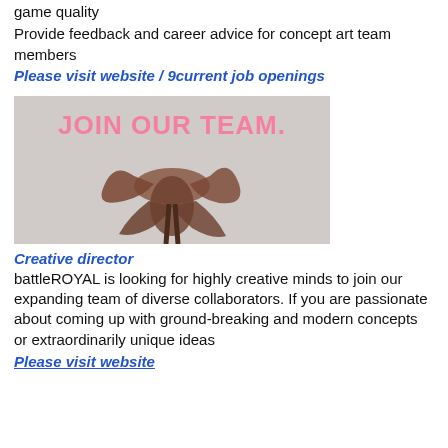game quality
Provide feedback and career advice for concept art team members
Please visit website / 9current job openings
[Figure (photo): JOIN OUR TEAM. banner image with a person draped in brown fabric on a gray background]
Creative director
battleROYAL is looking for highly creative minds to join our expanding team of diverse collaborators. If you are passionate about coming up with ground-breaking and modern concepts or extraordinarily unique ideas
Please visit website